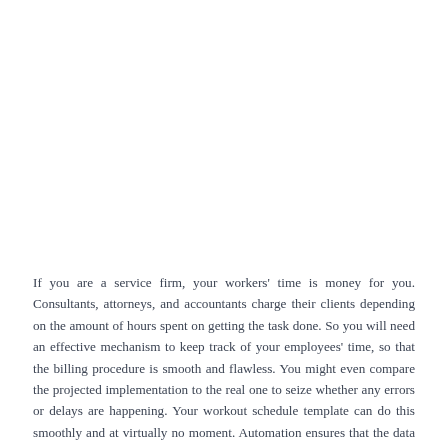If you are a service firm, your workers' time is money for you. Consultants, attorneys, and accountants charge their clients depending on the amount of hours spent on getting the task done. So you will need an effective mechanism to keep track of your employees' time, so that the billing procedure is smooth and flawless. You might even compare the projected implementation to the real one to seize whether any errors or delays are happening. Your workout schedule template can do this smoothly and at virtually no moment. Automation ensures that the data is correct and easily accessible in almost any processed form that